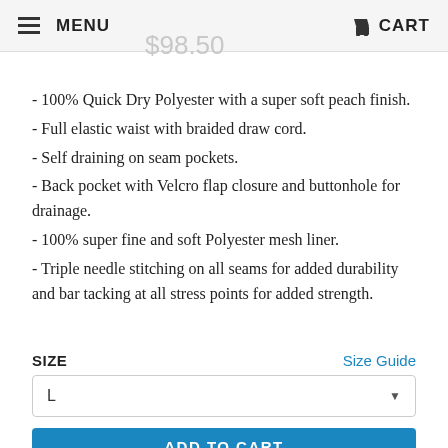MENU   CART
$98.50
- 100% Quick Dry Polyester with a super soft peach finish.
- Full elastic waist with braided draw cord.
- Self draining on seam pockets.
- Back pocket with Velcro flap closure and buttonhole for drainage.
- 100% super fine and soft Polyester mesh liner.
- Triple needle stitching on all seams for added durability and bar tacking at all stress points for added strength.
SIZE   Size Guide
L
ADD TO CART